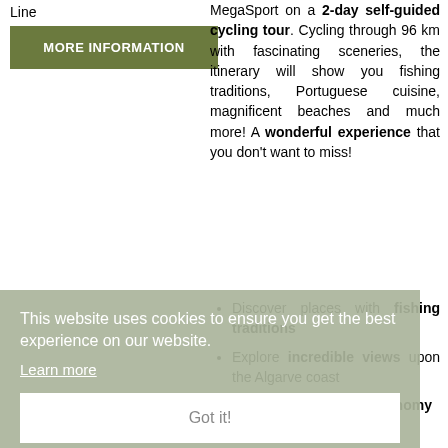Line
MORE INFORMATION
MegaSport on a 2-day self-guided cycling tour. Cycling through 96 km with fascinating sceneries, the itinerary will show you fishing traditions, Portuguese cuisine, magnificent beaches and much more! A wonderful experience that you don't want to miss!
Discover places with fishing traditions
Explore incredible views upon the Algarve coast
Enjoy Portuguese gastronomy
This website uses cookies to ensure you get the best experience on our website.
Learn more
Got it!